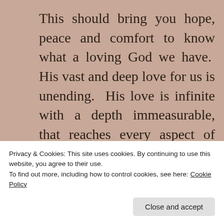This should bring you hope, peace and comfort to know what a loving God we have. His vast and deep love for us is unending. His love is infinite with a depth immeasurable, that reaches every aspect of our life. Marvel at the awesomeness of God Himself! He cares for you. God likes to see you all…
Privacy & Cookies: This site uses cookies. By continuing to use this website, you agree to their use.
To find out more, including how to control cookies, see here: Cookie Policy
Close and accept